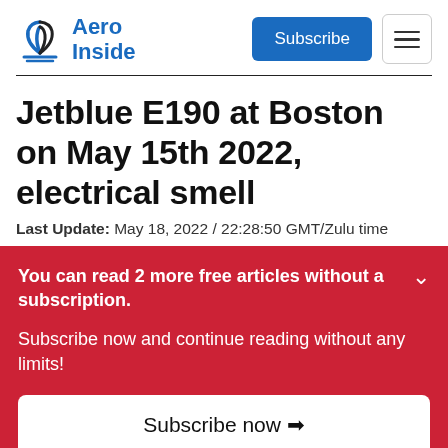Aero Inside — Subscribe — Menu
Jetblue E190 at Boston on May 15th 2022, electrical smell
Last Update: May 18, 2022 / 22:28:50 GMT/Zulu time
You can read 2 more free articles without a subscription.

Subscribe now and continue reading without any limits!

Subscribe now →

Are you a subscriber? Login